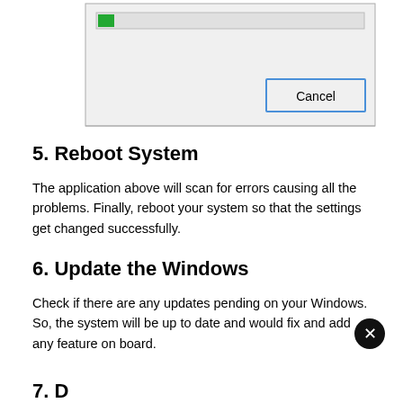[Figure (screenshot): A Windows-style dialog box showing a progress bar with a small green indicator and a Cancel button on the right side.]
5. Reboot System
The application above will scan for errors causing all the problems. Finally, reboot your system so that the settings get changed successfully.
6. Update the Windows
Check if there are any updates pending on your Windows. So, the system will be up to date and would fix and add any feature on board.
7. D…n